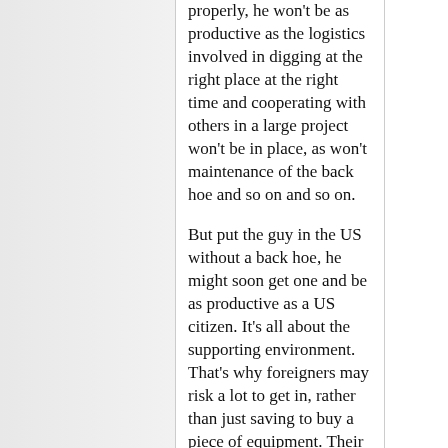properly, he won't be as productive as the logistics involved in digging at the right place at the right time and cooperating with others in a large project won't be in place, as won't maintenance of the back hoe and so on and so on.
But put the guy in the US without a back hoe, he might soon get one and be as productive as a US citizen. It's all about the supporting environment. That's why foreigners may risk a lot to get in, rather than just saving to buy a piece of equipment. Their productivity takes a big jump in the US